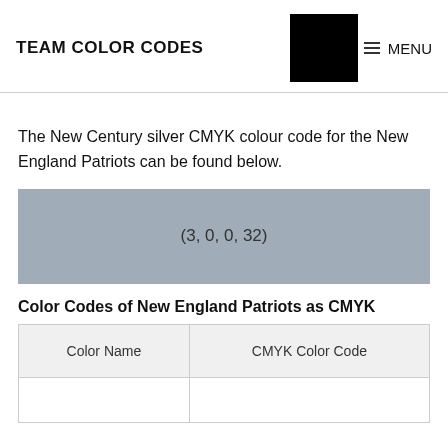TEAM COLOR CODES
The New Century silver CMYK colour code for the New England Patriots can be found below.
[Figure (other): Silver/gray color swatch rectangle displaying the CMYK value (3, 0, 0, 32)]
Color Codes of New England Patriots as CMYK
| Color Name | CMYK Color Code |
| --- | --- |
|  |  |